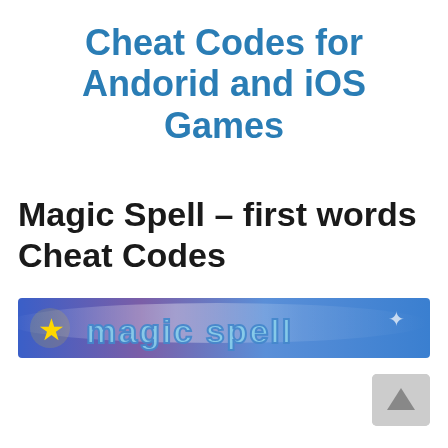Cheat Codes for Andorid and iOS Games
Magic Spell – first words Cheat Codes
[Figure (illustration): Magic Spell game banner with blue and purple gradient background, star icon, and stylized 'magic spell' text in bubbly blue letters]
[Figure (other): Gray scroll-to-top button with upward-pointing arrow triangle in the bottom right corner]